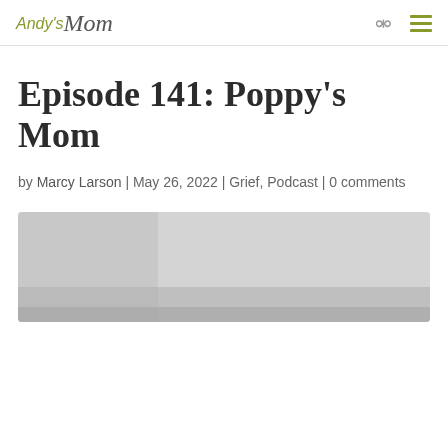Andy's Mom
Episode 141: Poppy's Mom
by Marcy Larson | May 26, 2022 | Grief, Podcast | 0 comments
[Figure (photo): Media player or podcast image placeholder, partially visible at bottom of page]